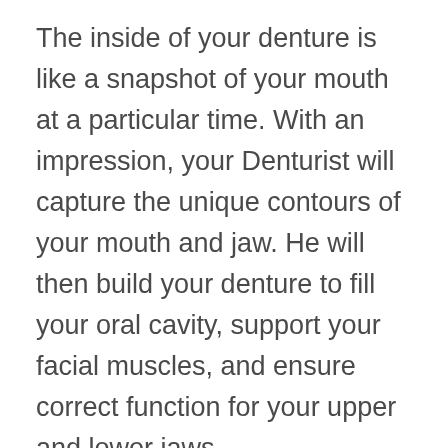The inside of your denture is like a snapshot of your mouth at a particular time. With an impression, your Denturist will capture the unique contours of your mouth and jaw. He will then build your denture to fill your oral cavity, support your facial muscles, and ensure correct function for your upper and lower jaws.
With the passage of time, your mouth will start to change shape. This natural process is called resorption. It starts when you lose one or more teeth and will